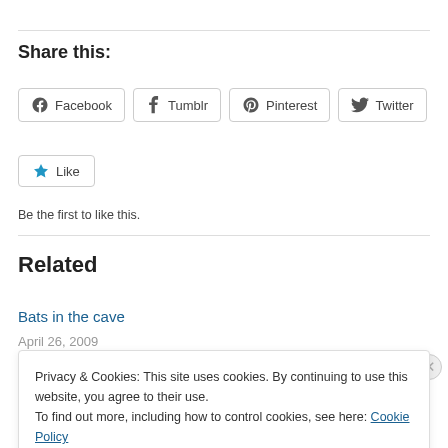Share this:
[Figure (other): Social share buttons: Facebook, Tumblr, Pinterest, Twitter]
[Figure (other): Like button with star icon]
Be the first to like this.
Related
Bats in the cave
April 26, 2009
Privacy & Cookies: This site uses cookies. By continuing to use this website, you agree to their use. To find out more, including how to control cookies, see here: Cookie Policy